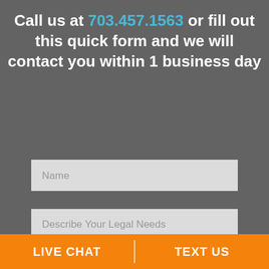Call us at 703.457.1563 or fill out this quick form and we will contact you within 1 business day
[Figure (screenshot): Web form with Name input field and Describe Your Legal Needs textarea, with disclaimer checkboxes]
I understand and agree that the information I receive in response to the above question is general information and not specific legal advice.
I understand and agree that I am not forming an attorney-client relationship by submitting this
LIVE CHAT
TEXT US